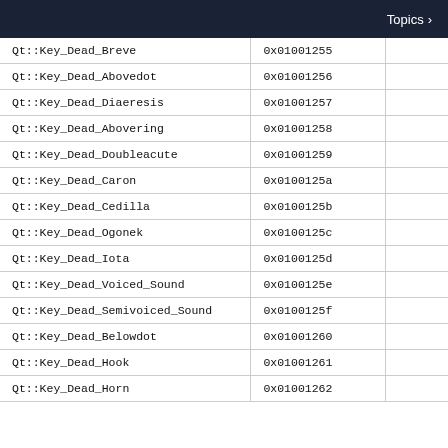Topics >
| Qt::Key_Dead_Breve | 0x01001255 |  |
| Qt::Key_Dead_Abovedot | 0x01001256 |  |
| Qt::Key_Dead_Diaeresis | 0x01001257 |  |
| Qt::Key_Dead_Abovering | 0x01001258 |  |
| Qt::Key_Dead_Doubleacute | 0x01001259 |  |
| Qt::Key_Dead_Caron | 0x0100125a |  |
| Qt::Key_Dead_Cedilla | 0x0100125b |  |
| Qt::Key_Dead_Ogonek | 0x0100125c |  |
| Qt::Key_Dead_Iota | 0x0100125d |  |
| Qt::Key_Dead_Voiced_Sound | 0x0100125e |  |
| Qt::Key_Dead_Semivoiced_Sound | 0x0100125f |  |
| Qt::Key_Dead_Belowdot | 0x01001260 |  |
| Qt::Key_Dead_Hook | 0x01001261 |  |
| Qt::Key_Dead_Horn | 0x01001262 |  |